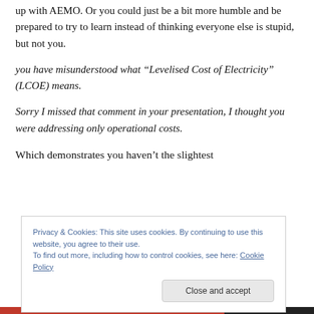up with AEMO. Or you could just be a bit more humble and be prepared to try to learn instead of thinking everyone else is stupid, but not you.
you have misunderstood what “Levelised Cost of Electricity” (LCOE) means.
Sorry I missed that comment in your presentation, I thought you were addressing only operational costs.
Which demonstrates you haven’t the slightest
Privacy & Cookies: This site uses cookies. By continuing to use this website, you agree to their use.
To find out more, including how to control cookies, see here: Cookie Policy